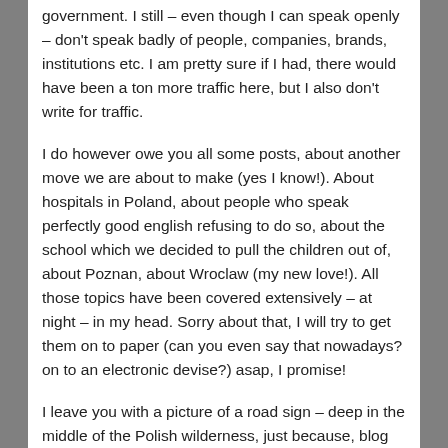government. I still – even though I can speak openly – don't speak badly of people, companies, brands, institutions etc. I am pretty sure if I had, there would have been a ton more traffic here, but I also don't write for traffic.
I do however owe you all some posts, about another move we are about to make (yes I know!). About hospitals in Poland, about people who speak perfectly good english refusing to do so, about the school which we decided to pull the children out of, about Poznan, about Wroclaw (my new love!). All those topics have been covered extensively – at night – in my head. Sorry about that, I will try to get them on to paper (can you even say that nowadays? on to an electronic devise?) asap, I promise!
I leave you with a picture of a road sign – deep in the middle of the Polish wilderness, just because, blog posts with pictures are nicer then blog posts without 🙂
-Linda